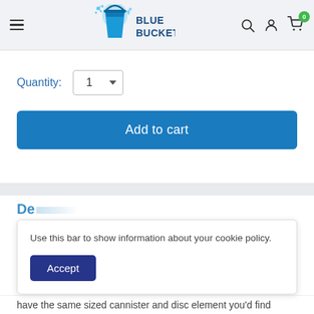[Figure (logo): Blue Bucket logo with blue bucket spilling water and bold blue text BLUE BUCKET]
Quantity:
1
Add to cart
Use this bar to show information about your cookie policy.
Accept
have the same sized cannister and disc element you'd find